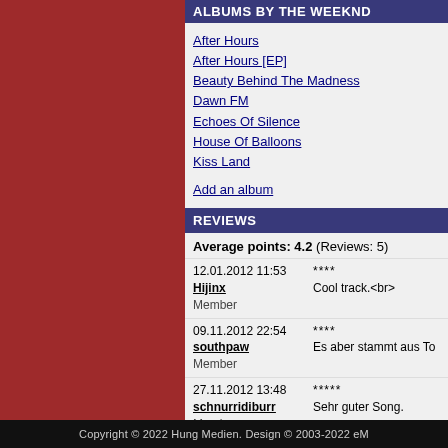ALBUMS BY THE WEEKND
After Hours
After Hours [EP]
Beauty Behind The Madness
Dawn FM
Echoes Of Silence
House Of Balloons
Kiss Land
Add an album
REVIEWS
Average points: 4.2 (Reviews: 5)
12.01.2012 11:53
Hijinx
Member
****
Cool track.<br>
09.11.2012 22:54
southpaw
Member
****
Es aber stammt aus To
27.11.2012 13:48
schnurridiburr
Member
*****
Sehr guter Song.
16.07.2016 12:01
AllSainter
Member
****
Nett.
22.03.2020 14:56
fabio
Member
****
gut
Add a review
Copyright © 2022 Hung Medien. Design © 2003-2022 eM